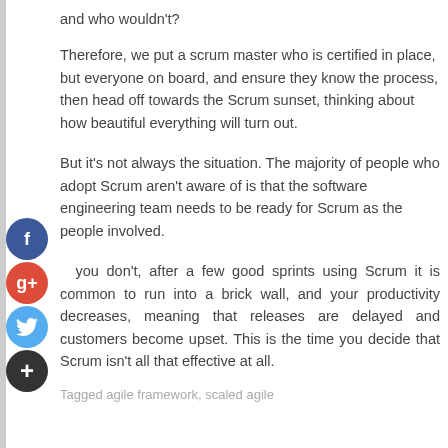and who wouldn't?
Therefore, we put a scrum master who is certified in place, but everyone on board, and ensure they know the process, then head off towards the Scrum sunset, thinking about how beautiful everything will turn out.
But it's not always the situation. The majority of people who adopt Scrum aren't aware of is that the software engineering team needs to be ready for Scrum as the people involved.
you don't, after a few good sprints using Scrum it is common to run into a brick wall, and your productivity decreases, meaning that releases are delayed and customers become upset. This is the time you decide that Scrum isn't all that effective at all.
Tagged agile framework, scaled agile